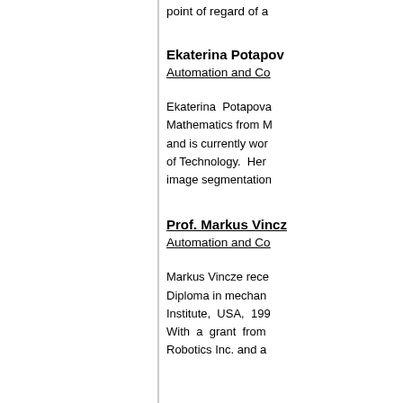point of regard of a
Ekaterina Potapova
Automation and Co
Ekaterina Potapova Mathematics from M and is currently wor of Technology. Her image segmentation
Prof. Markus Vincz
Automation and Co
Markus Vincze rece Diploma in mechan Institute, USA, 199 With a grant from Robotics Inc. and a